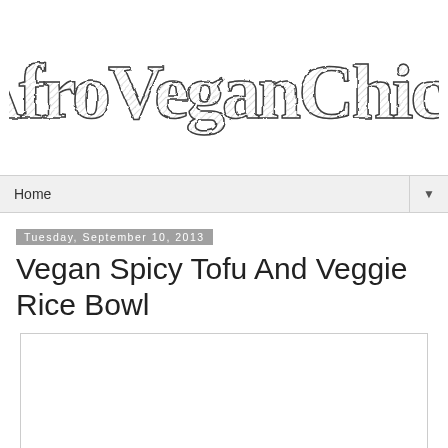[Figure (logo): AfroVeganChick blog logo in decorative hand-drawn style lettering]
Home
Tuesday, September 10, 2013
Vegan Spicy Tofu And Veggie Rice Bowl
[Figure (photo): Empty white image placeholder box]